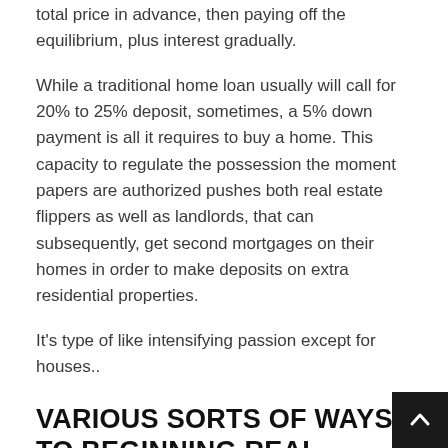total price in advance, then paying off the equilibrium, plus interest gradually.
While a traditional home loan usually will call for 20% to 25% deposit, sometimes, a 5% down payment is all it requires to buy a home. This capacity to regulate the possession the moment papers are authorized pushes both real estate flippers as well as landlords, that can subsequently, get second mortgages on their homes in order to make deposits on extra residential properties.
It's type of like intensifying passion except for houses..
VARIOUS SORTS OF WAYS TO BEGINNING REAL ESTATE INVESTING
Right here is a checklist of the most prominent ways people will typically get going in real estate